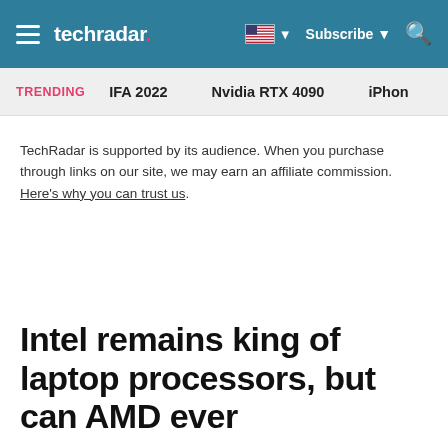techradar
TRENDING   IFA 2022   Nvidia RTX 4090   iPhon
TechRadar is supported by its audience. When you purchase through links on our site, we may earn an affiliate commission. Here's why you can trust us.
Intel remains king of laptop processors, but can AMD ever